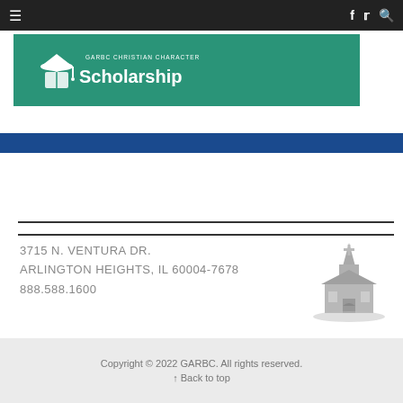≡   f  🐦  🔍
[Figure (logo): GARBC Christian Character Scholarship banner logo on teal/green background]
[Figure (illustration): Gray church silhouette icon]
3715 N. VENTURA DR.
ARLINGTON HEIGHTS, IL 60004-7678
888.588.1600
Copyright © 2022 GARBC. All rights reserved.
↑ Back to top